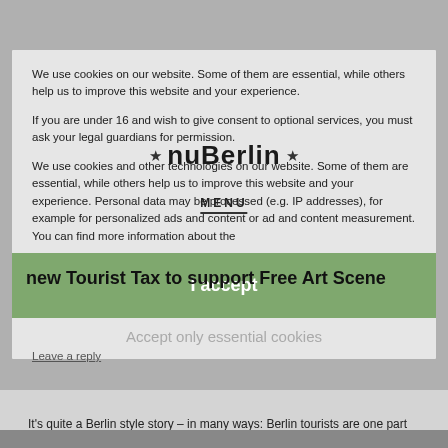[Figure (screenshot): Cookie consent modal overlaying a nuBerlin website page. The modal contains cookie policy text, an 'I accept' button, and 'Accept only essential cookies' link. Behind the modal, the nuBerlin logo, a MENU label, an article headline 'new Tourist Tax to support Free Art Scene', and a 'Leave a reply' link are visible.]
We use cookies on our website. Some of them are essential, while others help us to improve this website and your experience.
If you are under 16 and wish to give consent to optional services, you must ask your legal guardians for permission.
We use cookies and other technologies on our website. Some of them are essential, while others help us to improve this website and your experience. Personal data may be processed (e.g. IP addresses), for example for personalized ads and content or ad and content measurement. You can find more information about the
I accept
Leave a reply
Accept only essential cookies
It’s quite a Berlin style story – in many ways: Berlin tourists are one part of that story, the financial situation of the city and the financial support for cultural institution (“the free art scene”) is the other detail of it. Berlins mayor Klaus Wowereit plays a